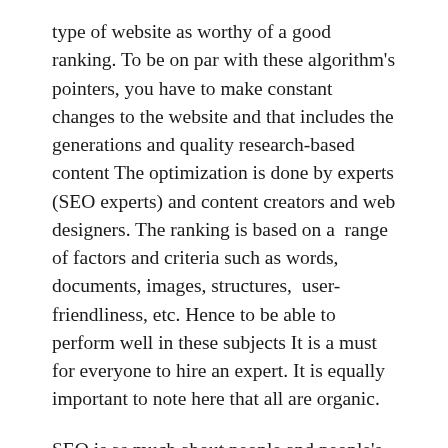type of website as worthy of a good ranking. To be on par with these algorithm's pointers, you have to make constant changes to the website and that includes the generations and quality research-based content The optimization is done by experts (SEO experts) and content creators and web designers. The ranking is based on a  range of factors and criteria such as words, documents, images, structures,  user-friendliness, etc. Hence to be able to perform well in these subjects It is a must for everyone to hire an expert. It is equally important to note here that all are organic.
SEO is as much about people and people's choices as it is about search engines. This is why it has become such an integral part of the whole digital marketing dynamics. People's choices are dictated by visibility and which in turn is dictated by ranking. In this article, we are going to talk about some of the most important benefits of SEO...